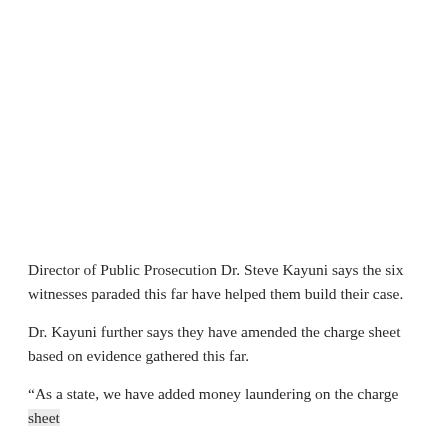Director of Public Prosecution Dr. Steve Kayuni says the six witnesses paraded this far have helped them build their case.
Dr. Kayuni further says they have amended the charge sheet based on evidence gathered this far.
“As a state, we have added money laundering on the charge